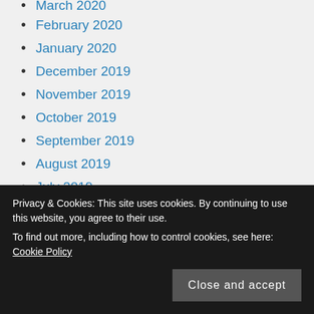March 2020
February 2020
January 2020
December 2019
November 2019
October 2019
September 2019
August 2019
July 2019
June 2019
May 2019
April 2019
Privacy & Cookies: This site uses cookies. By continuing to use this website, you agree to their use. To find out more, including how to control cookies, see here: Cookie Policy
November 2018